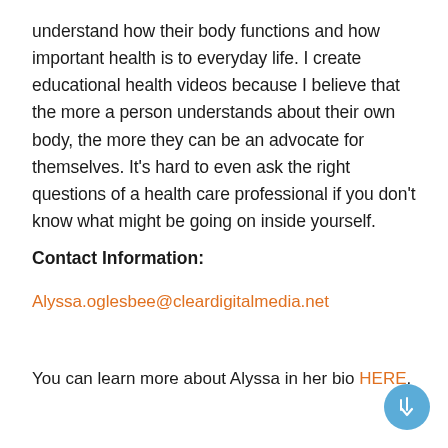understand how their body functions and how important health is to everyday life. I create educational health videos because I believe that the more a person understands about their own body, the more they can be an advocate for themselves. It's hard to even ask the right questions of a health care professional if you don't know what might be going on inside yourself.
Contact Information:
Alyssa.oglesbee@cleardigitalmedia.net
You can learn more about Alyssa in her bio HERE.